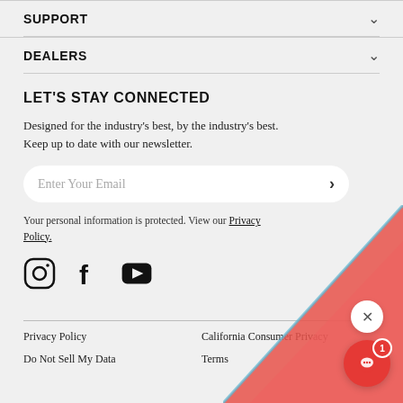SUPPORT
DEALERS
LET'S STAY CONNECTED
Designed for the industry's best, by the industry's best. Keep up to date with our newsletter.
Enter Your Email
Your personal information is protected. View our Privacy Policy.
[Figure (illustration): Social media icons: Instagram, Facebook, YouTube]
Privacy Policy | California Consumer Privacy | Do Not Sell My Data | Terms